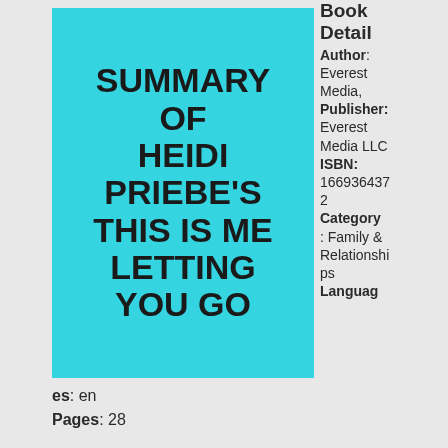[Figure (illustration): Book cover with cyan/turquoise background showing title text: SUMMARY OF HEIDI PRIEBE'S THIS IS ME LETTING YOU GO in bold black uppercase letters]
Book Detail
Author: Everest Media,
Publisher: Everest Media LLC
ISBN: 1669364372
Category: Family & Relationships
Languages: en
Pages: 28